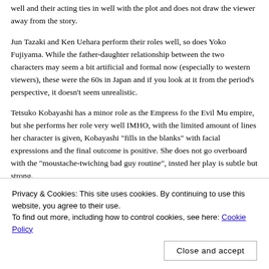well and their acting ties in well with the plot and does not draw the viewer away from the story.
Jun Tazaki and Ken Uehara perform their roles well, so does Yoko Fujiyama. While the father-daughter relationship between the two characters may seem a bit artificial and formal now (especially to western viewers), these were the 60s in Japan and if you look at it from the period's perspective, it doesn't seem unrealistic.
Tetsuko Kobayashi has a minor role as the Empress fo the Evil Mu empire, but she performs her role very well IMHO, with the limited amount of lines her character is given, Kobayashi "fills in the blanks" with facial expressions and the final outcome is positive. She does not go overboard with the "moustache-twiching bad guy routine", insted her play is subtle but strong.
[Figure (photo): A horizontal photo strip showing several people, partially obscured by the cookie consent banner overlay]
Privacy & Cookies: This site uses cookies. By continuing to use this website, you agree to their use.
To find out more, including how to control cookies, see here: Cookie Policy